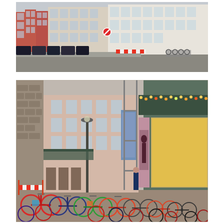[Figure (photo): Panoramic street photo of a European city (likely Copenhagen or Berlin). Shows a corner building with colorful row houses in red and beige/white tones. Cars parked along the street, bicycles, construction barriers, and a no-parking sign visible.]
[Figure (photo): Street-level photo of a European city showing a row of bicycles parked along a pedestrian street. Pink/beige multi-story buildings with scaffolding in the background. A shop on the right side decorated with Christmas lights and a fashion advertisement poster. A street lamp and banner visible in the middle distance.]